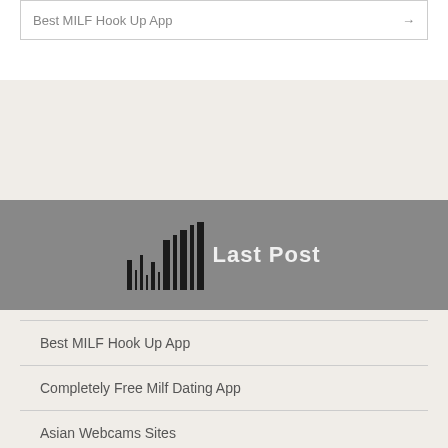Best MILF Hook Up App →
[Figure (other): Gray banner with barcode-style vertical bars and 'Last Post' text overlay]
Best MILF Hook Up App
Completely Free Milf Dating App
Asian Webcams Sites